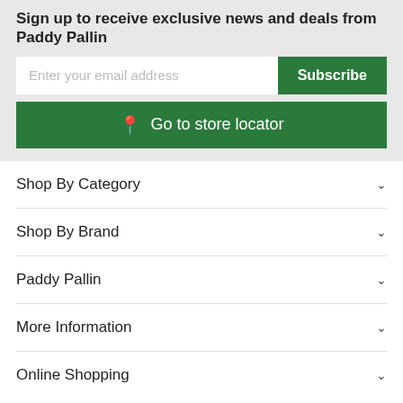Sign up to receive exclusive news and deals from Paddy Pallin
Enter your email address
Subscribe
Go to store locator
Shop By Category
Shop By Brand
Paddy Pallin
More Information
Online Shopping
[Figure (logo): Paddy Pallin Foundation logo]
[Figure (logo): OXFAM Trailwalker logo]
[Figure (logo): Coastrek logo]
[Figure (logo): The Duke of Edinburgh's International Award logo]
Partners